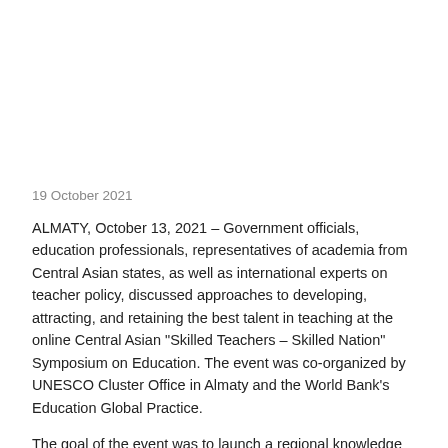19 October 2021
ALMATY, October 13, 2021 – Government officials, education professionals, representatives of academia from Central Asian states, as well as international experts on teacher policy, discussed approaches to developing, attracting, and retaining the best talent in teaching at the online Central Asian “Skilled Teachers – Skilled Nation” Symposium on Education. The event was co-organized by UNESCO Cluster Office in Almaty and the World Bank's Education Global Practice.
The goal of the event was to launch a regional knowledge